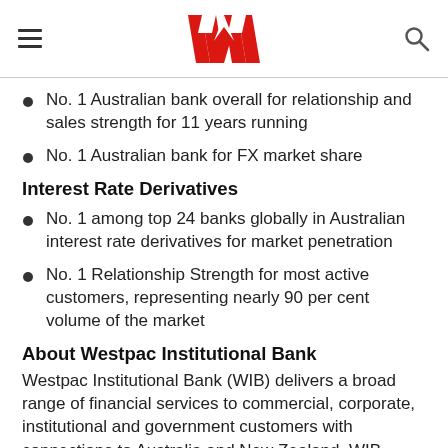Westpac logo header with hamburger menu and search icon
No. 1 Australian bank overall for relationship and sales strength for 11 years running
No. 1 Australian bank for FX market share
Interest Rate Derivatives
No. 1 among top 24 banks globally in Australian interest rate derivatives for market penetration
No. 1 Relationship Strength for most active customers, representing nearly 90 per cent volume of the market
About Westpac Institutional Bank
Westpac Institutional Bank (WIB) delivers a broad range of financial services to commercial, corporate, institutional and government customers with connections to Australia and New Zealand. WIB operates through dedicated industry relationship and